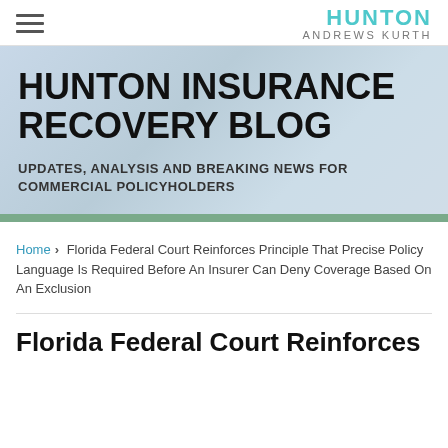HUNTON ANDREWS KURTH
HUNTON INSURANCE RECOVERY BLOG
UPDATES, ANALYSIS AND BREAKING NEWS FOR COMMERCIAL POLICYHOLDERS
Home > Florida Federal Court Reinforces Principle That Precise Policy Language Is Required Before An Insurer Can Deny Coverage Based On An Exclusion
Florida Federal Court Reinforces